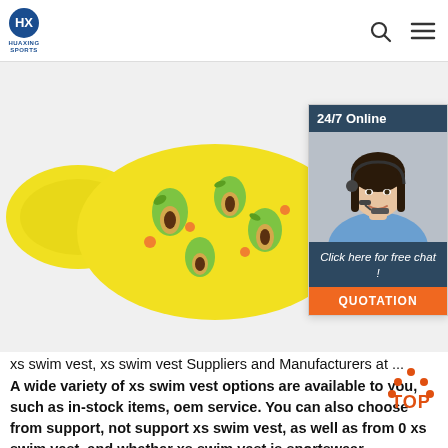HUAXING SPORTS
[Figure (photo): Yellow children's swim vest / puddle jumper with avocado fruit pattern, shown against white background]
[Figure (photo): 24/7 Online chat widget with female customer service agent wearing headset. Shows '24/7 Online', 'Click here for free chat!', and 'QUOTATION' button.]
xs swim vest, xs swim vest Suppliers and Manufacturers at ...
A wide variety of xs swim vest options are available to you, such as in-stock items, oem service. You can also choose from support, not support xs swim vest, as well as from 0 xs swim vest, and whether xs swim vest is sportswear.